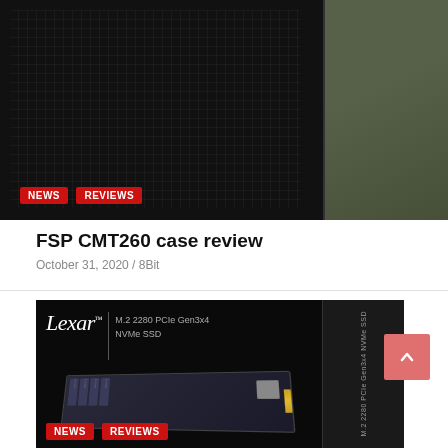[Figure (photo): A black PC computer case (FSP CMT260) photographed outdoors on a surface with grass visible in the background. Two red badge tags 'NEWS' and 'REVIEWS' overlay the bottom-left of the image.]
FSP CMT260 case review
October 31, 2020 / 8Bit
[Figure (photo): Product box image for Lexar NM618 M.2 2280 PCIe Gen3x4 NVMe SSD. The box is black with 'Lexar' branding in white, showing an M.2 SSD drive against a dark background. Vertical text on the right side of the box reads 'M.2 2280 PCIe Gen3x4 NVMe SSD'. Two red badge tags 'NEWS' and 'REVIEWS' overlay the bottom-left of the image.]